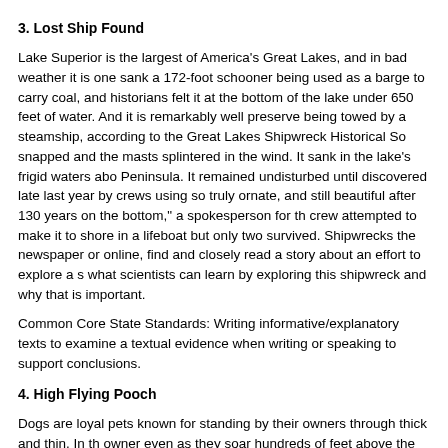3. Lost Ship Found
Lake Superior is the largest of America's Great Lakes, and in bad weather it is one sank a 172-foot schooner being used as a barge to carry coal, and historians felt it at the bottom of the lake under 650 feet of water. And it is remarkably well preserve being towed by a steamship, according to the Great Lakes Shipwreck Historical Sc snapped and the masts splintered in the wind. It sank in the lake's frigid waters abo Peninsula. It remained undisturbed until discovered late last year by crews using so truly ornate, and still beautiful after 130 years on the bottom," a spokesperson for th crew attempted to make it to shore in a lifeboat but only two survived. Shipwrecks the newspaper or online, find and closely read a story about an effort to explore a s what scientists can learn by exploring this shipwreck and why that is important.
Common Core State Standards: Writing informative/explanatory texts to examine a textual evidence when writing or speaking to support conclusions.
4. High Flying Pooch
Dogs are loyal pets known for standing by their owners through thick and thin. In th owner even as they soar hundreds of feet above the Earth. The dog, a Samoyed n French and Italian Alps. Equipped with a special harness, Ouka has taken flights a to do running takeoffs, Accuweather News reports. Paragliding is an adventure spo have no enclosed cockpit, and pilots (and their dogs) are supported only by harnes people. In the newspaper or online, find and closely read a story about an animal th telling what the animal has been trained to do and why its owner chose to train it.